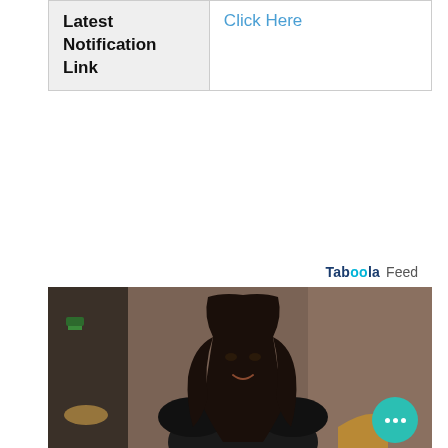| Latest Notification Link | Click Here |
| --- | --- |
Taboola Feed
[Figure (photo): A woman with long dark hair wearing a black jacket, smiling, photographed in an indoor setting with warm brown tones and a green light visible in the background.]